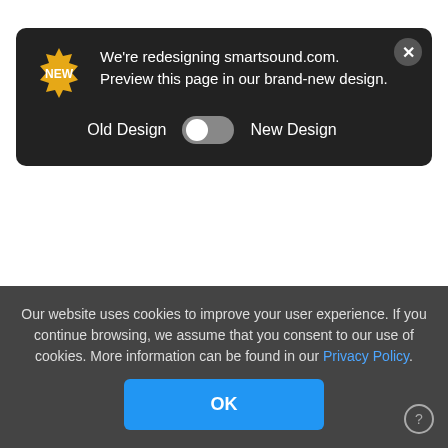$49.95
[Figure (screenshot): Dark notification banner: NEW badge (gold starburst), text 'We're redesigning smartsound.com. Preview this page in our brand-new design.', toggle switch between Old Design and New Design, close X button]
Album: Light & Jazzy
[Figure (illustration): Play button circle icon]
Genre: Smooth Jazz  Easy-Going  Jazz
Customize Track   More Information
Our website uses cookies to improve your user experience. If you continue browsing, we assume that you consent to our use of cookies. More information can be found in our Privacy Policy.
OK